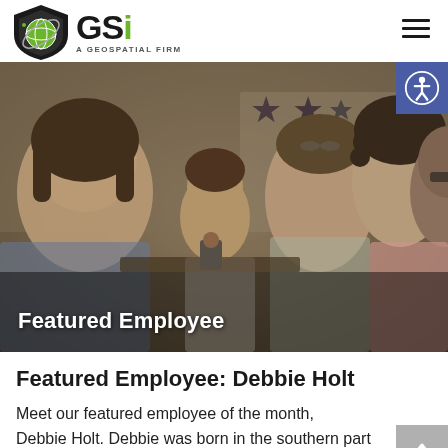GSi — A Geospatial Firm
[Figure (photo): Group photo of several people including children and adults smiling at camera, with decorative stars in background. Overlay text reads 'Featured Employee'.]
Featured Employee: Debbie Holt
Meet our featured employee of the month, Debbie Holt. Debbie was born in the southern part of Virginia in Danville but moved to Huntsville